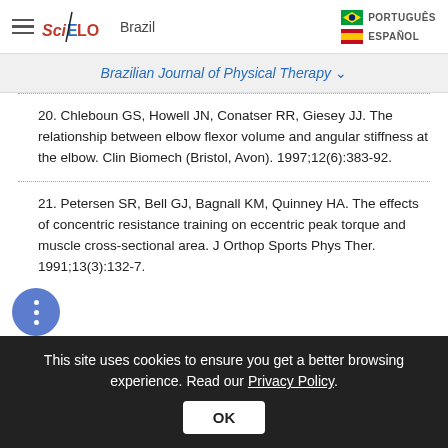SciELO Brazil | PORTUGUÊS | ESPAÑOL
Brazilian Journal of Physical Therapy
20. Chleboun GS, Howell JN, Conatser RR, Giesey JJ. The relationship between elbow flexor volume and angular stiffness at the elbow. Clin Biomech (Bristol, Avon). 1997;12(6):383-92.
21. Petersen SR, Bell GJ, Bagnall KM, Quinney HA. The effects of concentric resistance training on eccentric peak torque and muscle cross-sectional area. J Orthop Sports Phys Ther. 1991;13(3):132-7.
This site uses cookies to ensure you get a better browsing experience. Read our Privacy Policy.